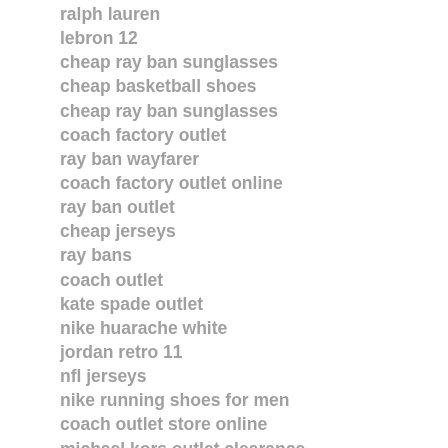ralph lauren
lebron 12
cheap ray ban sunglasses
cheap basketball shoes
cheap ray ban sunglasses
coach factory outlet
ray ban wayfarer
coach factory outlet online
ray ban outlet
cheap jerseys
ray bans
coach outlet
kate spade outlet
nike huarache white
jordan retro 11
nfl jerseys
nike running shoes for men
coach outlet store online
michael kors outlet clearance
kobe 10
nfl jerseys
michael kors bags
oakley sunglasses